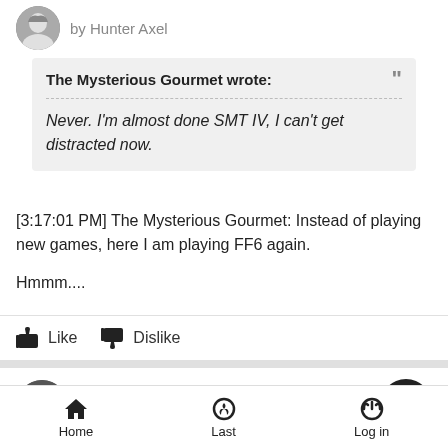by Hunter Axel
The Mysterious Gourmet wrote:
Never. I'm almost done SMT IV, I can't get distracted now.
[3:17:01 PM] The Mysterious Gourmet: Instead of playing new games, here I am playing FF6 again.

Hmmm....
Like   Dislike
Mon Aug 05, 2013 2:09 am
by The Mysterious Gourmet
Home   Last   Log in